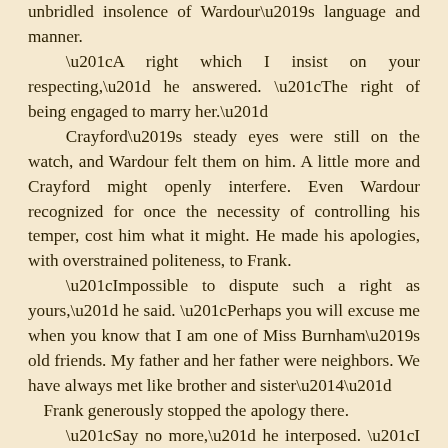unbridled insolence of Wardour’s language and manner.
“A right which I insist on your respecting,” he answered. “The right of being engaged to marry her.”
Crayford’s steady eyes were still on the watch, and Wardour felt them on him. A little more and Crayford might openly interfere. Even Wardour recognized for once the necessity of controlling his temper, cost him what it might. He made his apologies, with overstrained politeness, to Frank.
“Impossible to dispute such a right as yours,” he said. “Perhaps you will excuse me when you know that I am one of Miss Burnham’s old friends. My father and her father were neighbors. We have always met like brother and sister—”
Frank generously stopped the apology there.
“Say no more,” he interposed. “I was in the wrong—I lost my temper. Pray forgive me.”
Wardour looked at him with a strange, reluctant interest while he was speaking. Wardour asked an extraordinary question when he had done.
“Is she very fond of you?”
Frank burst out laughing.
“My dear fellow,” he said, “come to our wedding, and judge for yourself.”
“Come to your wedding?” As he repeated the words